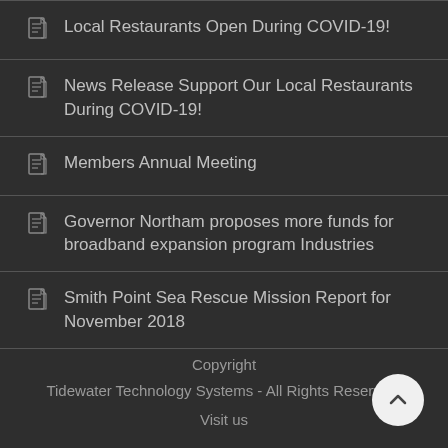Local Restaurants Open During COVID-19!
News Release Support Our Local Restaurants During COVID-19!
Members Annual Meeting
Governor Northam proposes more funds for broadband expansion program Industries
Smith Point Sea Rescue Mission Report for November 2018
Copyright
Tidewater Technology Systems - All Rights Reserved.
Visit us